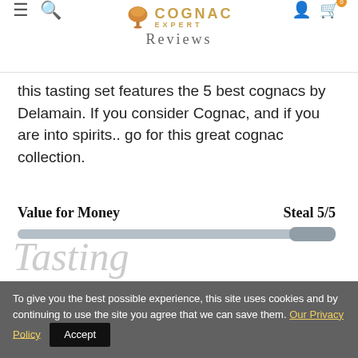COGNAC EXPERT REVIEWS
this tasting set features the 5 best cognacs by Delamain. If you consider Cognac, and if you are into spirits.. go for this great cognac collection.
Value for Money   Steal 5/5
[Figure (infographic): Progress bar showing Value for Money rating at full/100% with a thumb indicator at right end, representing Steal 5/5]
Tasting
To give you the best possible experience, this site uses cookies and by continuing to use the site you agree that we can save them. Our Privacy Policy  Accept